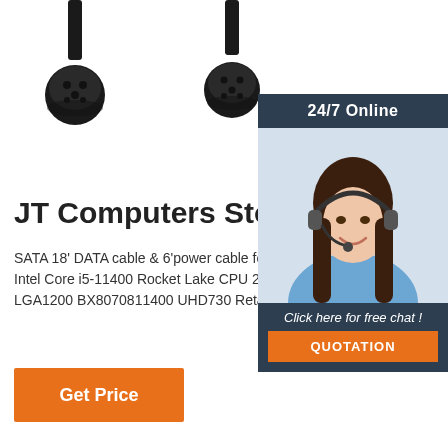[Figure (photo): Two black cable connectors with round multi-pin plugs on a white background, shown from above]
JT Computers Store
SATA 18' DATA cable & 6'power cable for Hard Drive sata Blu-Ray DVDRW Drive $6 Intel Core i5-11400 Rocket Lake CPU 2.60 LGA1200 BX8070811400 UHD730 Retail
[Figure (photo): Customer service agent woman with headset smiling, with 24/7 Online header and Click here for free chat text and QUOTATION button]
Get Price